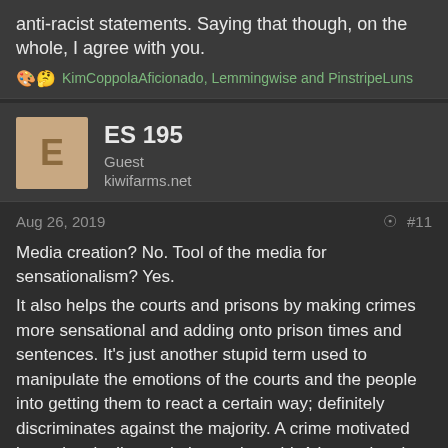anti-racist statements. Saying that though, on the whole, I agree with you.
KimCoppolaAficionado, Lemmingwise and PinstripeLuns
ES 195
Guest
kiwifarms.net
Aug 26, 2019
#11
Media creation? No. Tool of the media for sensationalism? Yes.
It also helps the courts and prisons by making crimes more sensational and adding onto prison times and sentences. It's just another stupid term used to manipulate the emotions of the courts and the people into getting them to react a certain way; definitely discriminates against the majority. A crime motivated by racism is disappointing and stupid. A hate crime is evil and infuriating. It's simply just another propaganda term.